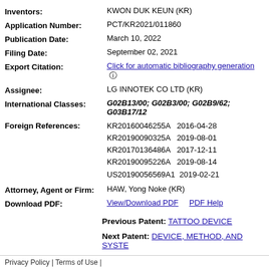Inventors: KWON DUK KEUN (KR)
Application Number: PCT/KR2021/011860
Publication Date: March 10, 2022
Filing Date: September 02, 2021
Export Citation: Click for automatic bibliography generation
Assignee: LG INNOTEK CO LTD (KR)
International Classes: G02B13/00; G02B3/00; G02B9/62; G03B17/1...
Foreign References: KR20160046255A 2016-04-28 KR20190090325A 2019-08-01 KR20170136486A 2017-12-11 KR20190095226A 2019-08-14 US20190056569A1 2019-02-21
Attorney, Agent or Firm: HAW, Yong Noke (KR)
Download PDF: View/Download PDF   PDF Help
Previous Patent: TATTOO DEVICE
Next Patent: DEVICE, METHOD, AND SYSTE...
Privacy Policy | Terms of Use |